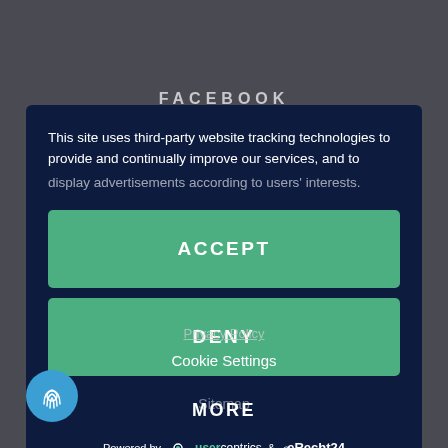This site uses third-party website tracking technologies to provide and continually improve our services, and to display advertisements according to users' interests.
ACCEPT
DENY
MORE
Powered by usercentrics & eRecht24
Privacy Policy
Cookie Settings
Sitemap